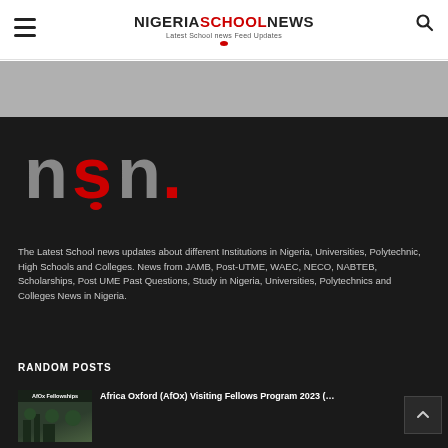NIGERIASCHOOLNEWS - Latest School news Feed Updates
[Figure (logo): NSN logo in dark red and gray on dark background]
The Latest School news updates about different Institutions in Nigeria, Universities, Polytechnic, High Schools and Colleges. News from JAMB, Post-UTME, WAEC, NECO, NABTEB, Scholarships, Post UME Past Questions, Study in Nigeria, Universities, Polytechnics and Colleges News in Nigeria.
RANDOM POSTS
[Figure (photo): AfOx Fellowships thumbnail image]
Africa Oxford (AfOx) Visiting Fellows Program 2023 (…)